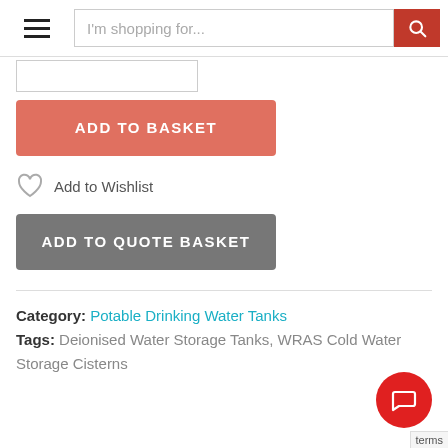I'm shopping for...
ADD TO BASKET
Add to Wishlist
ADD TO QUOTE BASKET
Category: Potable Drinking Water Tanks
Tags: Deionised Water Storage Tanks, WRAS Cold Water Storage Cisterns